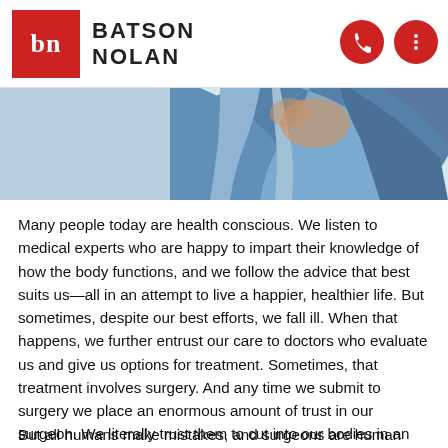BATSON NOLAN
[Figure (photo): A person wearing blue surgical scrubs/gown, cropped view of upper body and hands]
Many people today are health conscious. We listen to medical experts who are happy to impart their knowledge of how the body functions, and we follow the advice that best suits us—all in an attempt to live a happier, healthier life. But sometimes, despite our best efforts, we fall ill. When that happens, we further entrust our care to doctors who evaluate us and give us options for treatment. Sometimes, that treatment involves surgery. And any time we submit to surgery we place an enormous amount of trust in our surgeon. We literally trust them to cut into our bodies in an attempt to eradicate the disease.
But all humans make mistakes, and surgeons are human